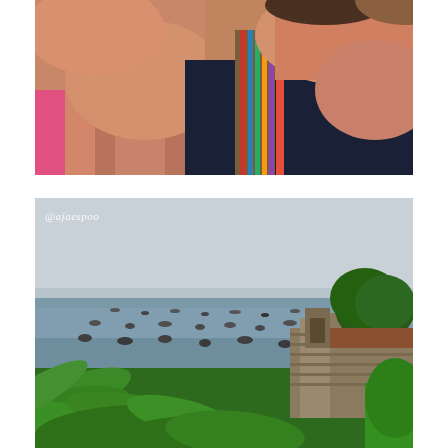[Figure (photo): Close-up selfie of two women, one wearing a pink top and the other wearing a dark navy top with a colorful woven/ethnic patterned strap. Blue water visible in the background. Taken outdoors in bright sunlight.]
[Figure (photo): Coastal landscape photo showing a bay filled with many small moored boats on calm blue-grey water, with lush green fern/palm foliage in the foreground and a historic stone building/fortress with a tree on the right side. Hazy sky. Watermark '@ajaespoo' in top left corner.]